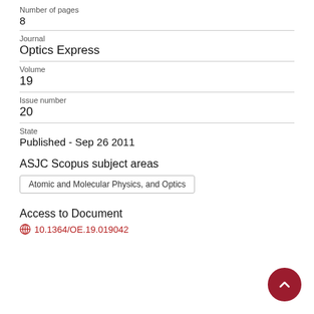Number of pages
8
Journal
Optics Express
Volume
19
Issue number
20
State
Published - Sep 26 2011
ASJC Scopus subject areas
Atomic and Molecular Physics, and Optics
Access to Document
10.1364/OE.19.019042